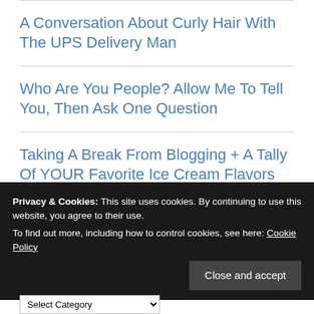A Conversation About Curly Hair With The UPS Delivery Man
Who Are You People? Allow Me To Tell You, Then Ask One Question
Taking A Break From Blogging + A Tally Of YOUR Favorite Ice Cream Flavors
Tidbits & Trifles Confirming That Life Isn't Always Exciting
Privacy & Cookies: This site uses cookies. By continuing to use this website, you agree to their use. To find out more, including how to control cookies, see here: Cookie Policy
Close and accept
Select Category